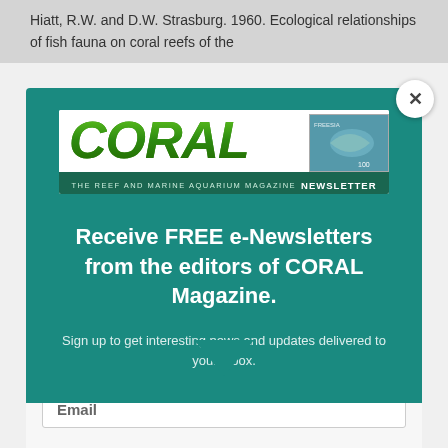Hiatt, R.W. and D.W. Strasburg. 1960. Ecological relationships of fish fauna on coral reefs of the
[Figure (logo): CORAL Magazine logo with stylized green text 'CORAL' and fish image, with subtitle 'THE REEF AND MARINE AQUARIUM MAGAZINE NEWSLETTER']
Receive FREE e-Newsletters from the editors of CORAL Magazine.
Sign up to get interesting news and updates delivered to your inbox.
Email